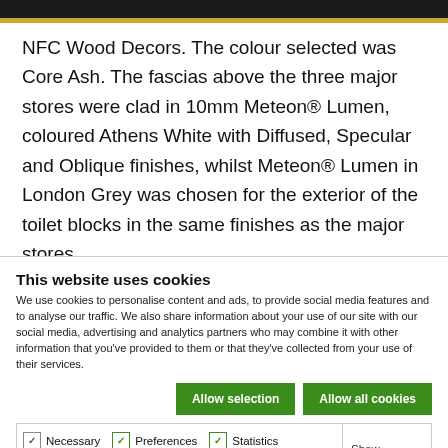NFC Wood Decors. The colour selected was Core Ash. The fascias above the three major stores were clad in 10mm Meteon® Lumen, coloured Athens White with Diffused, Specular and Oblique finishes, whilst Meteon® Lumen in London Grey was chosen for the exterior of the toilet blocks in the same finishes as the major stores.
This website uses cookies
We use cookies to personalise content and ads, to provide social media features and to analyse our traffic. We also share information about your use of our site with our social media, advertising and analytics partners who may combine it with other information that you've provided to them or that they've collected from your use of their services.